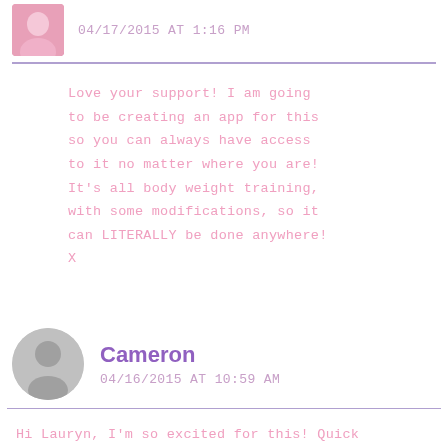04/17/2015 AT 1:16 PM
Love your support! I am going to be creating an app for this so you can always have access to it no matter where you are! It's all body weight training, with some modifications, so it can LITERALLY be done anywhere! X
Cameron
04/16/2015 AT 10:59 AM
Hi Lauryn, I'm so excited for this! Quick